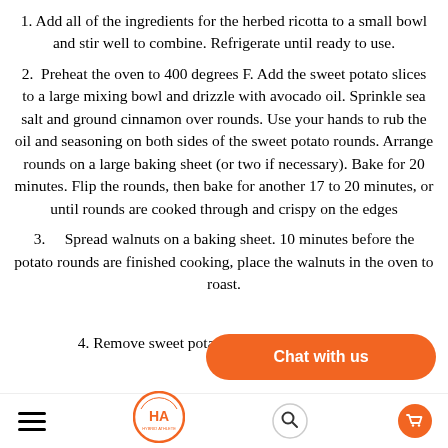1. Add all of the ingredients for the herbed ricotta to a small bowl and stir well to combine. Refrigerate until ready to use.
2. Preheat the oven to 400 degrees F. Add the sweet potato slices to a large mixing bowl and drizzle with avocado oil. Sprinkle sea salt and ground cinnamon over rounds. Use your hands to rub the oil and seasoning on both sides of the sweet potato rounds. Arrange rounds on a large baking sheet (or two if necessary). Bake for 20 minutes. Flip the rounds, then bake for another 17 to 20 minutes, or until rounds are cooked through and crispy on the edges
3. Spread walnuts on a baking sheet. 10 minutes before the potato rounds are finished cooking, place the walnuts in the oven to roast.
4. Remove sweet potato rounds and…
[Figure (logo): HA Hybrid Athlete circular logo in orange and white]
[Figure (other): Orange 'Chat with us' button overlay]
hamburger menu icon | HA logo | search icon | cart icon